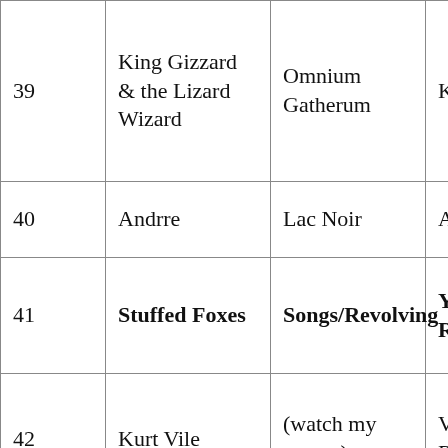| # | Artist | Album | Label |
| --- | --- | --- | --- |
| 39 | King Gizzard & the Lizard Wizard | Omnium Gatherum | KGLW |
| 40 | Andrre | Lac Noir | Autoprod |
| 41 | Stuffed Foxes | Songs/Revolving | Yotanka Records |
| 42 | Kurt Vile | (watch my moves) | Verve Records |
| 43 | Darius | Oasis | I See Colors |
| 44 |  | Devil for | Gawk |